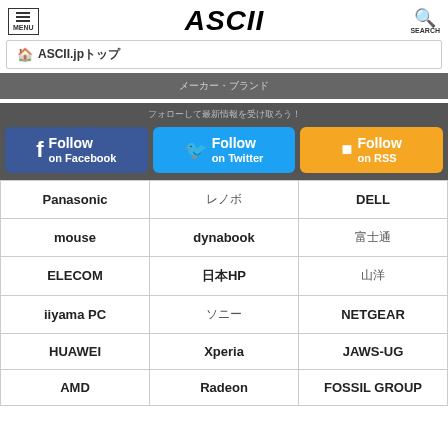ASCII
ASCII.jp
Follow on Facebook | Follow on Twitter | Follow on RSS
| Col1 | Col2 | Col3 |
| --- | --- | --- |
| Panasonic |  | DELL |
| mouse | dynabook |  |
| ELECOM | HP |  |
| iiyama PC |  | NETGEAR |
| HUAWEI | Xperia | JAWS-UG |
| AMD | Radeon | FOSSIL GROUP |